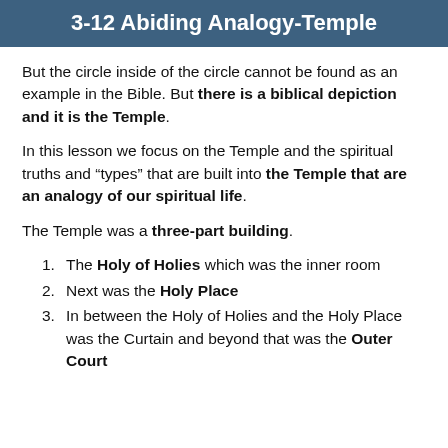3-12 Abiding Analogy-Temple
But the circle inside of the circle cannot be found as an example in the Bible. But there is a biblical depiction and it is the Temple.
In this lesson we focus on the Temple and the spiritual truths and “types” that are built into the Temple that are an analogy of our spiritual life.
The Temple was a three-part building.
The Holy of Holies which was the inner room
Next was the Holy Place
In between the Holy of Holies and the Holy Place was the Curtain and beyond that was the Outer Court